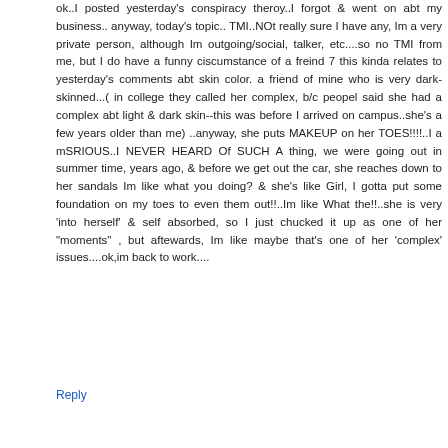ok..I posted yesterday's conspiracy theroy..I forgot & went on abt my business.. anyway, today's topic.. TMI..NOt really sure I have any, Im a very private person, although Im outgoing/social, talker, etc....so no TMI from me, but I do have a funny ciscumstance of a freind 7 this kinda relates to yesterday's comments abt skin color. a friend of mine who is very dark-skinned...( in college they called her complex, b/c peopel said she had a complex abt light & dark skin--this was before I arrived on campus..she's a few years older than me) ..anyway, she puts MAKEUP on her TOES!!!!..I a mSRIOUS..I NEVER HEARD Of SUCH A thing, we were going out in summer time, years ago, & before we get out the car, she reaches down to her sandals Im like what you doing? & she's like Girl, I gotta put some foundation on my toes to even them out!!..Im like What the!!..she is very 'into herself' & self absorbed, so I just chucked it up as one of her "moments" , but aftewards, Im like maybe that's one of her 'complex' issues....ok,im back to work....
Reply